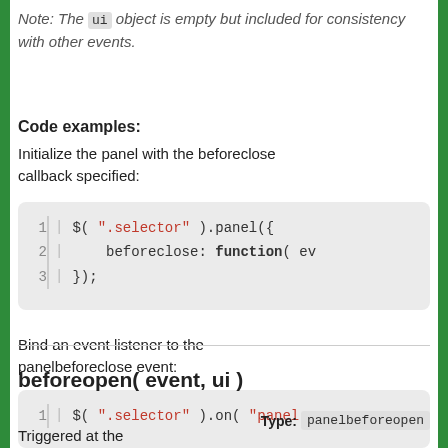Note: The ui object is empty but included for consistency with other events.
Code examples:
Initialize the panel with the beforeclose callback specified:
[Figure (screenshot): Code block showing: 1 | $( ".selector" ).panel({  2 |   beforeclose: function( ev  3 | });]
Bind an event listener to the panelbeforeclose event:
[Figure (screenshot): Code block showing: 1 | $( ".selector" ).on( "panel]
beforeopen( event, ui )
Type: panelbeforeopen
Triggered at the